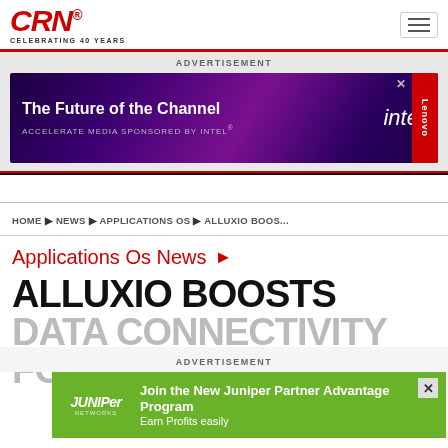CRN CELEBRATING 40 YEARS
[Figure (infographic): Advertisement banner: 'The Future of the Channel - ACCELERATE MEDIA SPONSORED BY INTEL®' with Intel and Lenovo branding on purple background]
ADVERTISEMENT
HOME ▶ NEWS ▶ APPLICATIONS OS ▶ ALLUXIO BOOS...
Applications Os News ▶
ALLUXIO BOOSTS DATA CONNECTIVITY FOR...
ADVERTISEMENT
[Figure (infographic): Advertisement banner: Juniper Networks - 'Join the New Juniper Partner Advantage Program - Earn Profits easily' on green background]